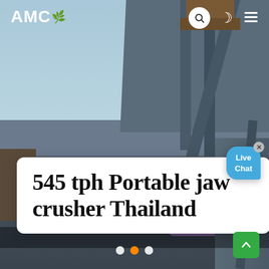[Figure (photo): Industrial portable jaw crusher machinery in Thailand, with steel frame structure visible against a light blue sky, conveyor and mechanical components in foreground and background.]
AMC
545 tph Portable jaw crusher Thailand
Live Chat
[Figure (other): Slide navigation dots: three circles (white, orange, white) at bottom of hero image.]
[Figure (other): Scroll to top green button with upward arrow icon, bottom right corner.]